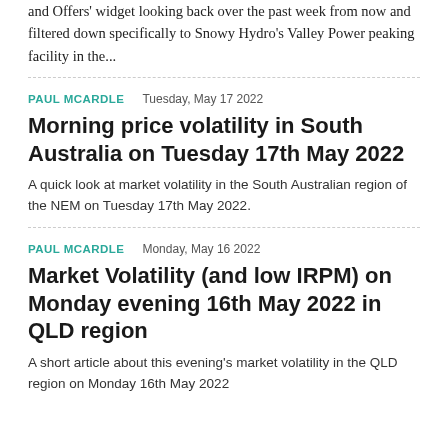and Offers' widget looking back over the past week from now and filtered down specifically to Snowy Hydro's Valley Power peaking facility in the...
PAUL MCARDLE    Tuesday, May 17 2022
Morning price volatility in South Australia on Tuesday 17th May 2022
A quick look at market volatility in the South Australian region of the NEM on Tuesday 17th May 2022.
PAUL MCARDLE    Monday, May 16 2022
Market Volatility (and low IRPM) on Monday evening 16th May 2022 in QLD region
A short article about this evening's market volatility in the QLD region on Monday 16th May 2022